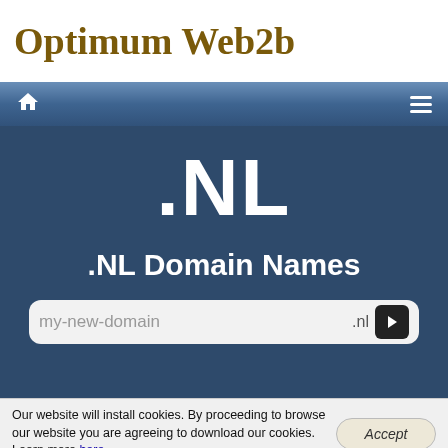Optimum Web2b
Navigation bar with home icon and hamburger menu
.NL
.NL Domain Names
my-new-domain .nl
Our website will install cookies. By proceeding to browse our website you are agreeing to download our cookies. Learn more here.